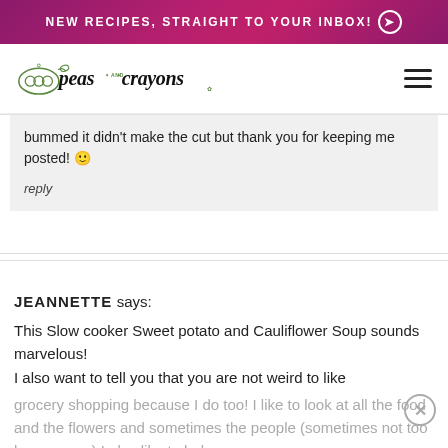NEW RECIPES, STRAIGHT TO YOUR INBOX! →
[Figure (logo): Peas and Crayons blog logo with illustrated pea pod and script lettering]
bummed it didn't make the cut but thank you for keeping me posted! 🙂
reply
JEANNETTE says:
This Slow cooker Sweet potato and Cauliflower Soup sounds marvelous!
I also want to tell you that you are not weird to like grocery shopping because I do too! I like to look at all the food and the flowers and sometimes the people (sometimes not too happy ones) I also like to help...